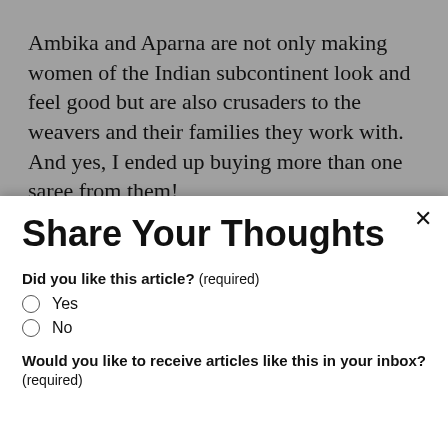Ambika and Aparna are not only making women of the Indian subcontinent look and feel good but are also crusaders to the weavers and their families they work with. And yes, I ended up buying more than one saree from them!
Share Your Thoughts
Did you like this article? (required)
Yes
No
Would you like to receive articles like this in your inbox? (required)